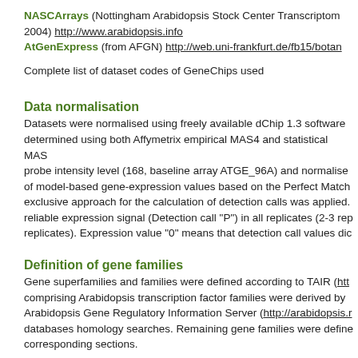NASCArrays (Nottingham Arabidopsis Stock Center Transcriptom 2004) http://www.arabidopsis.info
AtGenExpress (from AFGN) http://web.uni-frankfurt.de/fb15/botan...
Complete list of dataset codes of GeneChips used
Data normalisation
Datasets were normalised using freely available dChip 1.3 software determined using both Affymetrix empirical MAS4 and statistical MAS probe intensity level (168, baseline array ATGE_96A) and normalised of model-based gene-expression values based on the Perfect Match exclusive approach for the calculation of detection calls was applied. reliable expression signal (Detection call "P") in all replicates (2-3 rep replicates). Expression value "0" means that detection call values dic
Definition of gene families
Gene superfamilies and families were defined according to TAIR (htt comprising Arabidopsis transcription factor families were derived by Arabidopsis Gene Regulatory Information Server (http://arabidopsis.r databases homology searches. Remaining gene families were define corresponding sections.